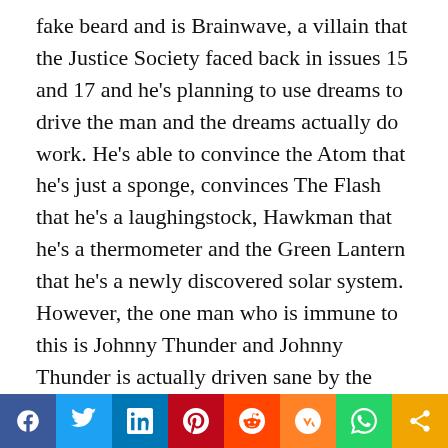fake beard and is Brainwave, a villain that the Justice Society faced back in issues 15 and 17 and he's planning to use dreams to drive the man and the dreams actually do work. He's able to convince the Atom that he's just a sponge, convinces The Flash that he's a laughingstock, Hawkman that he's a thermometer and the Green Lantern that he's a newly discovered solar system. However, the one man who is immune to this is Johnny Thunder and Johnny Thunder is actually driven sane by the dream because everything with Johnny is a little bit messed up. So, Johnny is able to foil the plot with the help of the Thunderbolt and I really like this one and I thought the way that it used
Social share bar: Facebook, Twitter, LinkedIn, Pinterest, Reddit, Mix, WhatsApp, Share